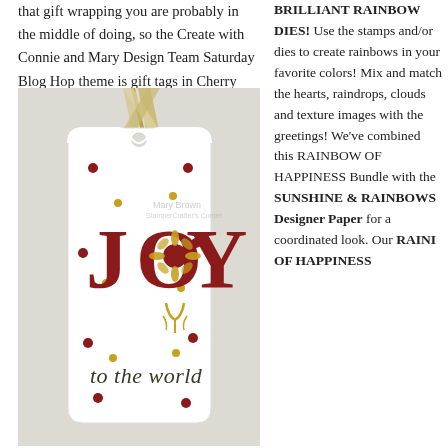that gift wrapping you are probably in the middle of doing, so the Create with Connie and Mary Design Team Saturday Blog Hop theme is gift tags in Cherry Cobbler, Very Vanilla, and Gold.
[Figure (photo): A decorative gift tag with 'JOY to the world' text, featuring large red letters on a white tag with gold dots and a gold ribbon, watermarked Mary Brown StamperCrafter's Corner.]
BRILLIANT RAINBOW DIES! Use the stamps and/or dies to create rainbows in your favorite colors! Mix and match the hearts, raindrops, clouds and texture images with the greetings! We've combined this RAINBOW OF HAPPINESS Bundle with the SUNSHINE & RAINBOWS Designer Paper for a coordinated look. Our RAINI OF HAPPINESS